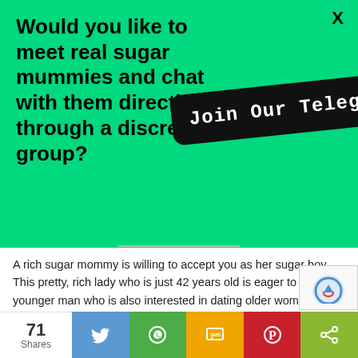[Figure (screenshot): Green promotional banner with text asking if user would like to meet real sugar mummies and a black pill-shaped button saying 'Join Our Telegram Group HERE', with an X close button in the top right]
A rich sugar mommy is willing to accept you as her sugar boy. This pretty, rich lady who is just 42 years old is eager to meet a younger man who is also interested in dating older women and be properly taken care of by her. She is willing to explore the world with you and give you all the financial uplift you desire.
[Figure (other): reCAPTCHA logo/widget in bottom right corner]
71 Shares